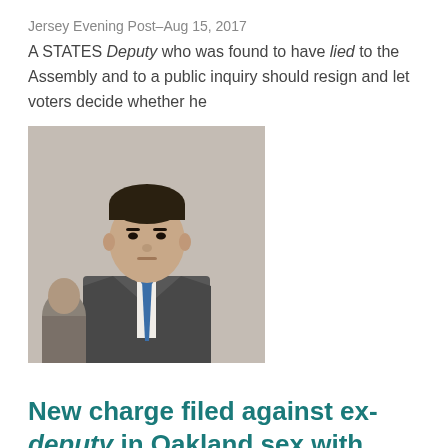Jersey Evening Post–Aug 15, 2017
A STATES Deputy who was found to have lied to the Assembly and to a public inquiry should resign and let voters decide whether he
[Figure (photo): Photo of a man in a suit with a blue tie]
New charge filed against ex-deputy in Oakland sex with minor case
SFGate–Aug 10, 2017
... since the teen admitted at the hearing that she lied to Perez about her ... STANDING TRIAL: Ex-East Bay deputy to stand trial for alleged sex